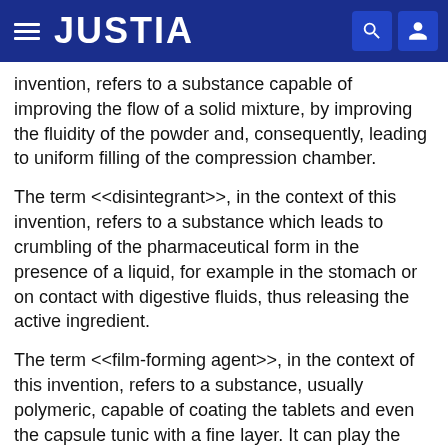JUSTIA
invention, refers to a substance capable of improving the flow of a solid mixture, by improving the fluidity of the powder and, consequently, leading to uniform filling of the compression chamber.
The term <<disintegrant>>, in the context of this invention, refers to a substance which leads to crumbling of the pharmaceutical form in the presence of a liquid, for example in the stomach or on contact with digestive fluids, thus releasing the active ingredient.
The term <<film-forming agent>>, in the context of this invention, refers to a substance, usually polymeric, capable of coating the tablets and even the capsule tunic with a fine layer. It can play the role of a colouring agent or mask unpleasant odours. It can also protect patients and medical staff, at the manual and bucco-pharyngeal levels, against the toxicity of the active